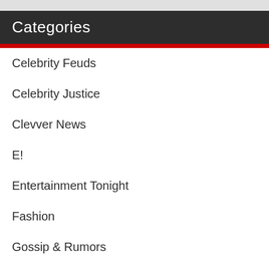Categories
Celebrity Feuds
Celebrity Justice
Clevver News
E!
Entertainment Tonight
Fashion
Gossip & Rumors
Movies
Music
Politics